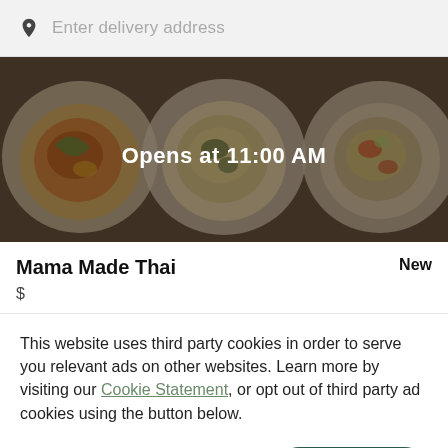Enter delivery address
[Figure (photo): Hero image showing three plates of Thai food with a dark overlay and the text 'Opens at 11:00 AM' in the center]
Mama Made Thai
New
$
This website uses third party cookies in order to serve you relevant ads on other websites. Learn more by visiting our Cookie Statement, or opt out of third party ad cookies using the button below.
OPT OUT
GOT IT